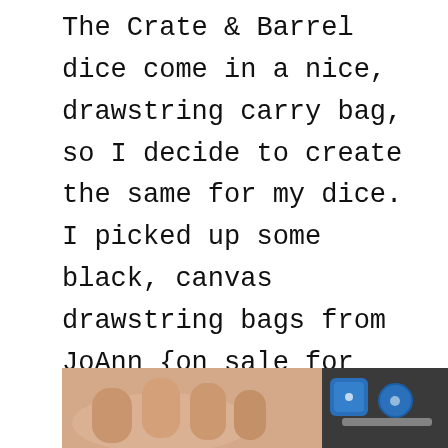The Crate & Barrel dice come in a nice, drawstring carry bag, so I decide to create the same for my dice. I picked up some black, canvas drawstring bags from JoAnn {on sale for half price}. I designed a simple label for the bags which I printed onto dark color iron-on transfer paper, and then I ironed the labels onto the bags.
[Figure (photo): Partial photo showing a hand/fingers and blue dice or objects on a light background]